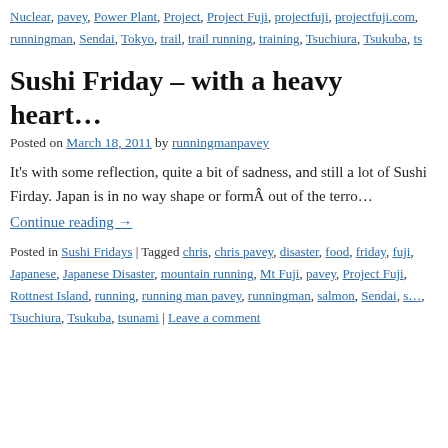Nuclear, pavey, Power Plant, Project, Project Fuji, projectfuji, projectfuji.com, runningman, Sendai, Tokyo, trail, trail running, training, Tsuchiura, Tsukuba, ts…
Sushi Friday – with a heavy heart…
Posted on March 18, 2011 by runningmanpavey
It's with some reflection, quite a bit of sadness, and still a lot of Sushi Firday. Japan is in no way shape or formÂ out of the terro…
Continue reading →
Posted in Sushi Fridays | Tagged chris, chris pavey, disaster, food, friday, fuji, Japanese, Japanese Disaster, mountain running, Mt Fuji, pavey, Project Fuji, Rottnest Island, running, running man pavey, runningman, salmon, Sendai, s…, Tsuchiura, Tsukuba, tsunami | Leave a comment